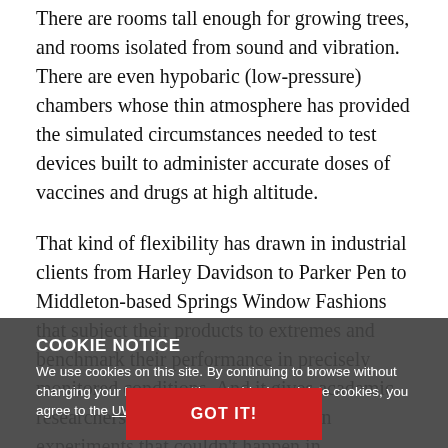There are rooms tall enough for growing trees, and rooms isolated from sound and vibration. There are even hypobaric (low-pressure) chambers whose thin atmosphere has provided the simulated circumstances needed to test devices built to administer accurate doses of vaccines and drugs at high altitude.
That kind of flexibility has drawn in industrial clients from Harley Davidson to Parker Pen to Middleton-based Springs Window Fashions that subject their products to extremes and benchmark their performance in precisely monitored conditions. And it gives academic researchers the opportunity to design experiments that couldn’t happen in conventional lab space – or without committing substantial time and money to one-off lab construction.
“It’s a researcher’s dream to study groups of organisms that are in an altered state,” says Hannah Carey, the Biotron’s director
COOKIE NOTICE
We use cookies on this site. By continuing to browse without changing your browser settings to block or delete cookies, you agree to the UW–Madison Privacy Notice.